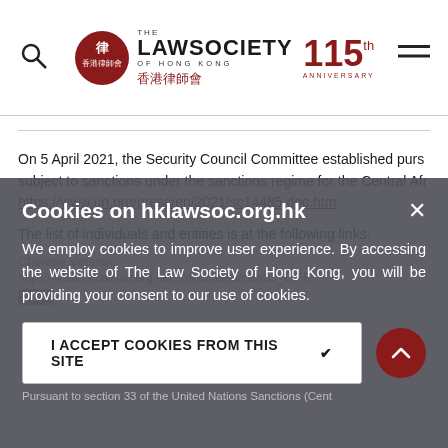The Law Society of Hong Kong — 115th Anniversary
On 5 April 2021, the Security Council Committee established pursuant to subject to sanctions under the sanctions regime for the Central Afr https://www.un.org/press/en/2021/sc14485.doc.htm
The list of individuals and entities is at the following links:
Chinese Version
https://www.hklawsoc.org.hk/.../document/citb/03_CITB_...
Cookies on hklawsoc.org.hk — We employ cookies to improve user experience. By accessing the website of The Law Society of Hong Kong, you will be providing your consent to our use of cookies. I ACCEPT COOKIES FROM THIS SITE ✔